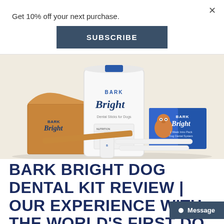Get 10% off your next purchase.
SUBSCRIBE
[Figure (photo): Bark Bright dog dental kit product photo showing a white bag labeled 'BARK Bright Dental Sticks for Dogs', a brown cardboard box with Bark Bright branding, a blue box with a dog photo and Bright branding, a small white toothpaste tube, and dental sticks/chews on a cream/beige background.]
BARK BRIGHT DOG DENTAL KIT REVIEW | OUR EXPERIENCE WITH THE WORLD'S FIRST DO... TOOTHPASTE AND